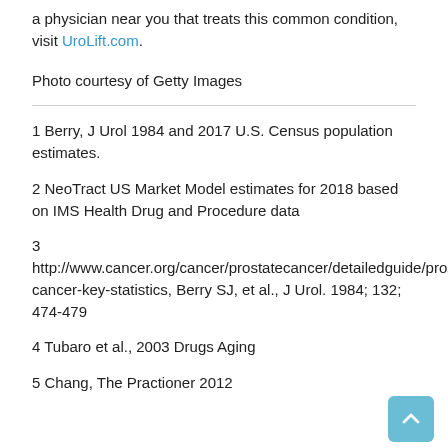a physician near you that treats this common condition, visit UroLift.com.
Photo courtesy of Getty Images
1 Berry, J Urol 1984 and 2017 U.S. Census population estimates.
2 NeoTract US Market Model estimates for 2018 based on IMS Health Drug and Procedure data
3 http://www.cancer.org/cancer/prostatecancer/detailedguide/prostate-cancer-key-statistics, Berry SJ, et al., J Urol. 1984; 132; 474-479
4 Tubaro et al., 2003 Drugs Aging
5 Chang, The Practioner 2012